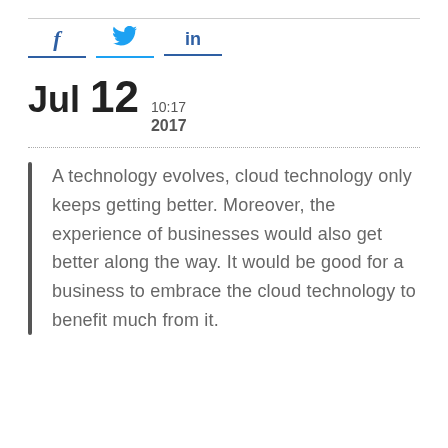[Figure (other): Social sharing icons: Facebook (f), Twitter (bird), LinkedIn (in) with colored underlines]
Jul 12 10:17 2017
A technology evolves, cloud technology only keeps getting better. Moreover, the experience of businesses would also get better along the way. It would be good for a business to embrace the cloud technology to benefit much from it.